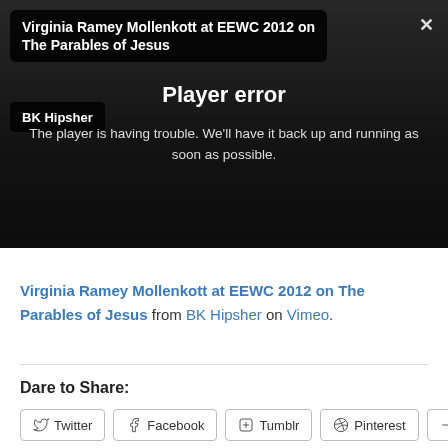[Figure (screenshot): Vimeo video player showing 'Virginia Ramey Mollenkott at EEWC 2012 on The Parables of Jesus' by BK Hipsher, with a player error overlay: 'Player error — The player is having trouble. We'll have it back up and running as soon as possible.']
Virginia Ramey Mollenkott at EEWC 2012 on The Parables of Jesus from BK Hipsher on Vimeo.
Dare to Share:
Twitter
Facebook
Tumblr
Pinterest
More